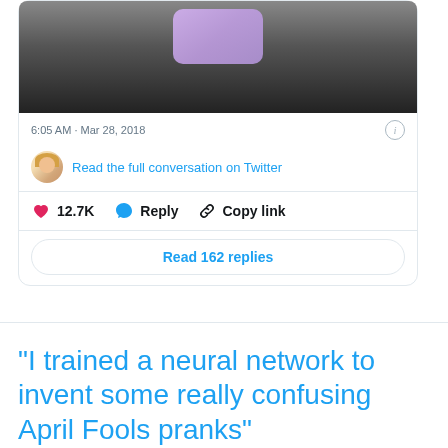[Figure (screenshot): Twitter/X tweet card showing a phone screen image at top, timestamp 6:05 AM · Mar 28, 2018, a link to read the full conversation on Twitter, action buttons (12.7K likes, Reply, Copy link), and a Read 162 replies button.]
6:05 AM · Mar 28, 2018
Read the full conversation on Twitter
12.7K   Reply   Copy link
Read 162 replies
"I trained a neural network to invent some really confusing April Fools pranks"